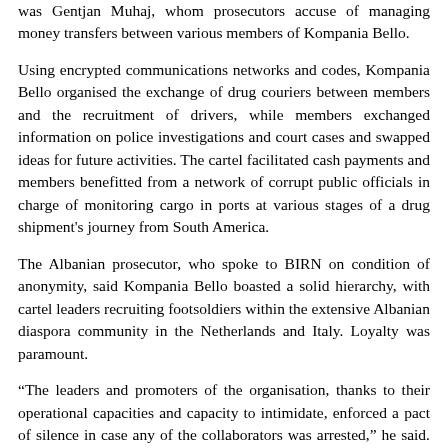was Gentjan Muhaj, whom prosecutors accuse of managing money transfers between various members of Kompania Bello.
Using encrypted communications networks and codes, Kompania Bello organised the exchange of drug couriers between members and the recruitment of drivers, while members exchanged information on police investigations and court cases and swapped ideas for future activities. The cartel facilitated cash payments and members benefitted from a network of corrupt public officials in charge of monitoring cargo in ports at various stages of a drug shipment's journey from South America.
The Albanian prosecutor, who spoke to BIRN on condition of anonymity, said Kompania Bello boasted a solid hierarchy, with cartel leaders recruiting footsoldiers within the extensive Albanian diaspora community in the Netherlands and Italy. Loyalty was paramount.
“The leaders and promoters of the organisation, thanks to their operational capacities and capacity to intimidate, enforced a pact of silence in case any of the collaborators was arrested,” he said. “And if this unwritten pact was not respected, serious consequences would follow as they would take revenge against family members in the Netherlands, Italy or Albania.”